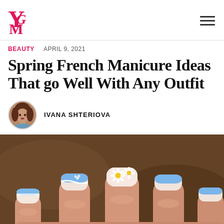YGM logo and navigation
BEAUTY   APRIL 9, 2021
Spring French Manicure Ideas That go Well With Any Outfit
IVANA SHTERIOVA
[Figure (photo): Close-up of a hand with spring French manicure nails featuring blue ombre tips, daisy floral nail art, and white French tip accents on a brown background.]